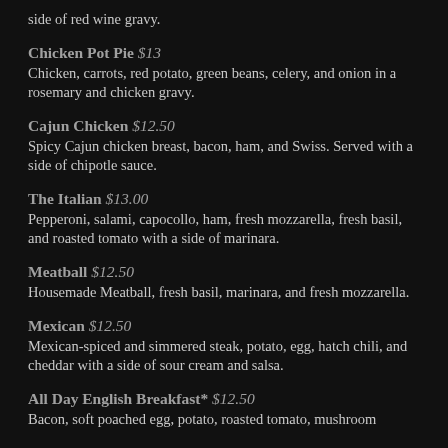side of red wine gravy.
Chicken Pot Pie $13 — Chicken, carrots, red potato, green beans, celery, and onion in a rosemary and chicken gravy.
Cajun Chicken $12.50 — Spicy Cajun chicken breast, bacon, ham, and Swiss. Served with a side of chipotle sauce.
The Italian $13.00 — Pepperoni, salami, capocollo, ham, fresh mozzarella, fresh basil, and roasted tomato with a side of marinara.
Meatball $12.50 — Housemade Meatball, fresh basil, marinara, and fresh mozzarella.
Mexican $12.50 — Mexican-spiced and simmered steak, potato, egg, hatch chili, and cheddar with a side of sour cream and salsa.
All Day English Breakfast* $12.50 — Bacon, soft poached egg, potato, roasted tomato, mushroom